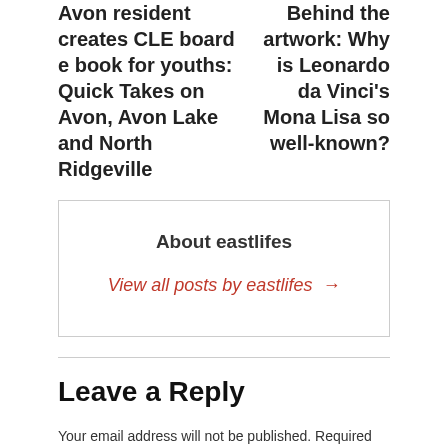Avon resident creates CLE board e book for youths: Quick Takes on Avon, Avon Lake and North Ridgeville
Behind the artwork: Why is Leonardo da Vinci's Mona Lisa so well-known?
About eastlifes
View all posts by eastlifes →
Leave a Reply
Your email address will not be published. Required fields are marked *